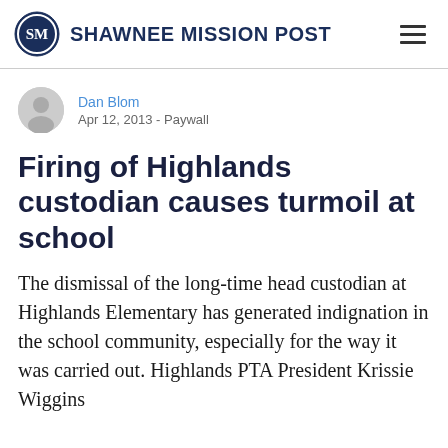SHAWNEE MISSION POST
Dan Blom
Apr 12, 2013 - Paywall
Firing of Highlands custodian causes turmoil at school
The dismissal of the long-time head custodian at Highlands Elementary has generated indignation in the school community, especially for the way it was carried out. Highlands PTA President Krissie Wiggins